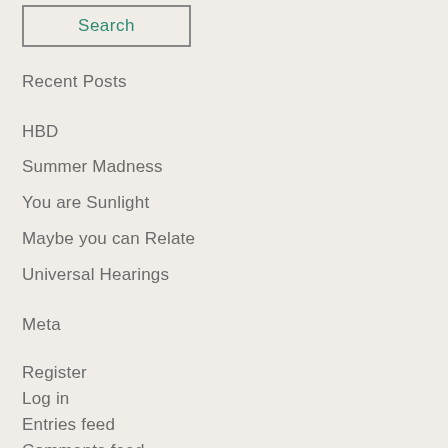[Figure (other): Search button with green text and border]
Recent Posts
HBD
Summer Madness
You are Sunlight
Maybe you can Relate
Universal Hearings
Meta
Register
Log in
Entries feed
Comments feed